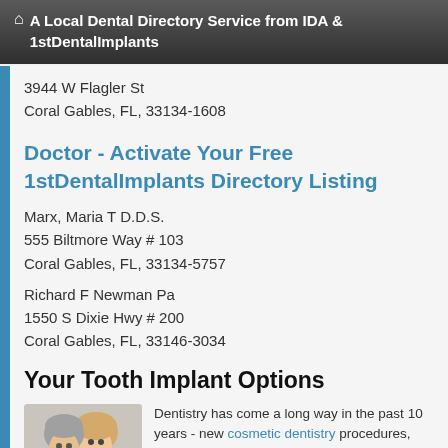🏠 A Local Dental Directory Service from IDA & 1stDentalImplants
3944 W Flagler St
Coral Gables, FL, 33134-1608
Doctor - Activate Your Free 1stDentalImplants Directory Listing
Marx, Maria T D.D.S.
555 Biltmore Way # 103
Coral Gables, FL, 33134-5757
Richard F Newman Pa
1550 S Dixie Hwy # 200
Coral Gables, FL, 33146-3034
Your Tooth Implant Options
[Figure (photo): Photo of a smiling middle-aged couple, man and woman]
Dentistry has come a long way in the past 10 years - new cosmetic dentistry procedures, stronger dental materials, improved techniques all the way around.